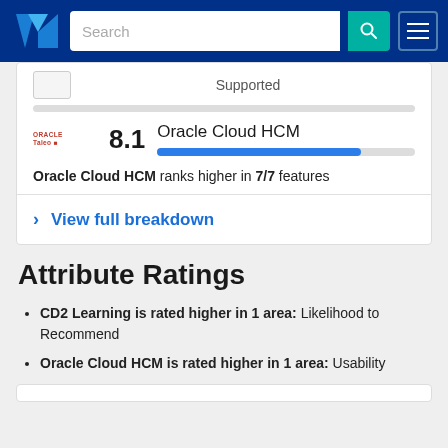TrustRadius navigation bar with logo, search field, and menu button
Supported
Oracle Cloud HCM  8.1
Oracle Cloud HCM ranks higher in 7/7 features
View full breakdown
Attribute Ratings
CD2 Learning is rated higher in 1 area: Likelihood to Recommend
Oracle Cloud HCM is rated higher in 1 area: Usability